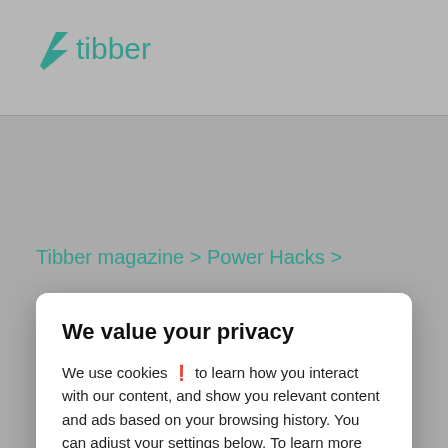[Figure (screenshot): Tibber website background showing header with teal Tibber logo (lightning bolt + 'tibber' text), breadcrumb navigation 'Tibber magazine > Power Hacks >', content image strip, and hamburger Menu icon at bottom left. Background is gray.]
We value your privacy
We use cookies 🍪 to learn how you interact with our content, and show you relevant content and ads based on your browsing history. You can adjust your settings below. To learn more about the cookies we use on our site, please read our Cookie Policy
Manage
Accept all